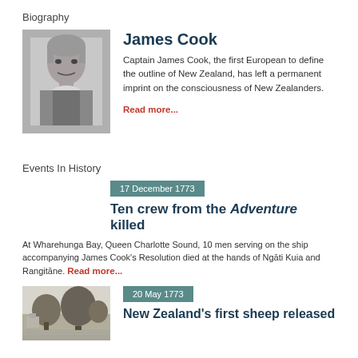Biography
[Figure (photo): Black and white engraved portrait of Captain James Cook]
James Cook
Captain James Cook, the first European to define the outline of New Zealand, has left a permanent imprint on the consciousness of New Zealanders.
Read more...
Events In History
17 December 1773
Ten crew from the Adventure killed
At Wharehunga Bay, Queen Charlotte Sound, 10 men serving on the ship accompanying James Cook's Resolution died at the hands of Ngāti Kuia and Rangitāne. Read more...
[Figure (illustration): Black and white illustration of a rural New Zealand landscape with trees and buildings]
20 May 1773
New Zealand's first sheep released